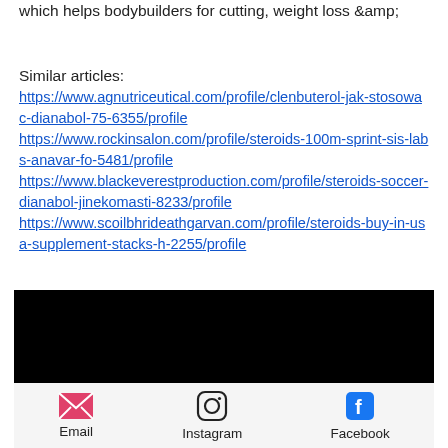which helps bodybuilders for cutting, weight loss &amp;
Similar articles:
https://www.agnutriceutical.com/profile/clenbuterol-jak-stosowac-dianabol-75-6355/profile
https://www.rockinsalon.com/profile/steroids-100m-sprint-sis-labs-anavar-fo-5481/profile
https://www.blackeverestproduction.com/profile/steroids-soccer-dianabol-jinekomasti-8233/profile
https://www.scoilbhrideathgarvan.com/profile/steroids-buy-in-usa-supplement-stacks-h-2255/profile
[Figure (other): Black rectangle, likely a video embed or image placeholder]
Email   Instagram   Facebook